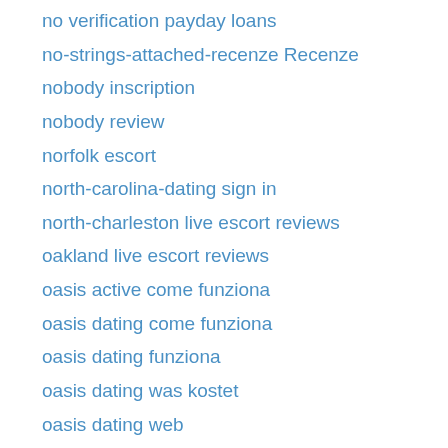no verification payday loans
no-strings-attached-recenze Recenze
nobody inscription
nobody review
norfolk escort
north-carolina-dating sign in
north-charleston live escort reviews
oakland live escort reviews
oasis active come funziona
oasis dating come funziona
oasis dating funziona
oasis dating was kostet
oasis dating web
oasis-active-recenze Recenze
oceanside escort sites